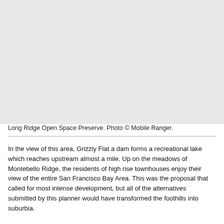[Figure (photo): Photograph of Long Ridge Open Space Preserve]
Long Ridge Open Space Preserve. Photo © Mobile Ranger.
In the view of this area, Grizzly Flat a dam forms a recreational lake which reaches upstream almost a mile. Up on the meadows of Montebello Ridge, the residents of high rise townhouses enjoy their view of the entire San Francisco Bay Area. This was the proposal that called for most intense development, but all of the alternatives submitted by this planner would have transformed the foothills into suburbia.